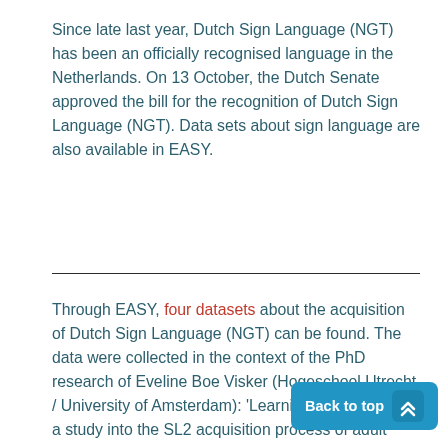Since late last year, Dutch Sign Language (NGT) has been an officially recognised language in the Netherlands. On 13 October, the Dutch Senate approved the bill for the recognition of Dutch Sign Language (NGT). Data sets about sign language are also available in EASY.
Through EASY, four datasets about the acquisition of Dutch Sign Language (NGT) can be found. The data were collected in the context of the PhD research of Eveline Boe Visker (Hogeschool Utrecht / University of Amsterdam): 'Learning to use space: a study into the SL2 acquisition process of adult...